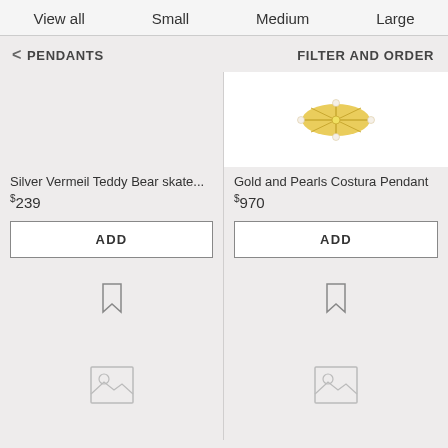View all  Small  Medium  Large
< PENDANTS   FILTER AND ORDER
[Figure (photo): Gold and Pearls Costura Pendant product photo on white background]
Silver Vermeil Teddy Bear skate...
$239
ADD
Gold and Pearls Costura Pendant
$970
ADD
[Figure (illustration): Bookmark icon for first product]
[Figure (illustration): Bookmark icon for second product]
[Figure (illustration): Image placeholder icon for third product]
[Figure (illustration): Image placeholder icon for fourth product]